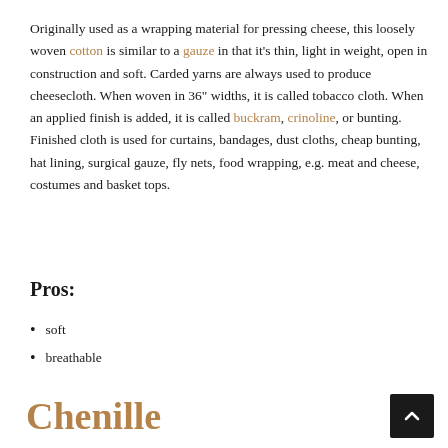Originally used as a wrapping material for pressing cheese, this loosely woven cotton is similar to a gauze in that it's thin, light in weight, open in construction and soft. Carded yarns are always used to produce cheesecloth. When woven in 36" widths, it is called tobacco cloth. When an applied finish is added, it is called buckram, crinoline, or bunting. Finished cloth is used for curtains, bandages, dust cloths, cheap bunting, hat lining, surgical gauze, fly nets, food wrapping, e.g. meat and cheese, costumes and basket tops.
Pros:
soft
breathable
Chenille